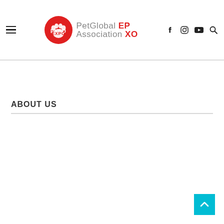PetGlobal EPXO Association — Navigation header with logo, hamburger menu, and social icons
ABOUT US
[Figure (logo): Back to top button — cyan square with white upward chevron arrow]